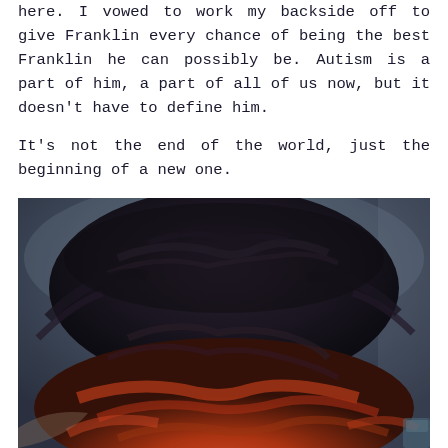here. I vowed to work my backside off to give Franklin every chance of being the best Franklin he can possibly be. Autism is a part of him, a part of all of us now, but it doesn't have to define him.

It's not the end of the world, just the beginning of a new one.
[Figure (photo): Close-up photograph of the top of a child's head with dark hair, taken from above. The hair has some reddish/auburn tones visible at the lower portion. The background is a muted blue-grey.]